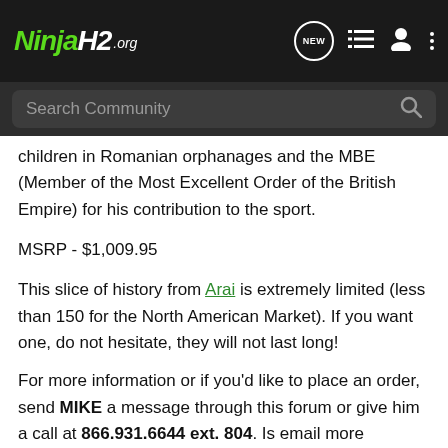NinjaH2.org [header with logo and icons]
Search Community
children in Romanian orphanages and the MBE (Member of the Most Excellent Order of the British Empire) for his contribution to the sport.
MSRP - $1,009.95
This slice of history from Arai is extremely limited (less than 150 for the North American Market). If you want one, do not hesitate, they will not last long!
For more information or if you'd like to place an order, send MIKE a message through this forum or give him a call at 866.931.6644 ext. 804. Is email more convenient? Write us at FORUM at RIDERSDISCOUNT dot COM, and we'll get back to you right away!